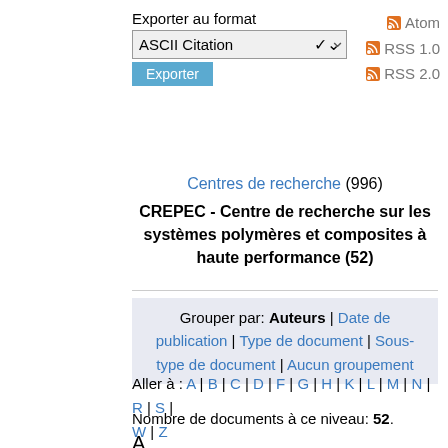Exporter au format
ASCII Citation
Exporter
Atom | RSS 1.0 | RSS 2.0
Centres de recherche (996)
CREPEC - Centre de recherche sur les systèmes polymères et composites à haute performance (52)
Grouper par: Auteurs | Date de publication | Type de document | Sous-type de document | Aucun groupement
Aller à : A | B | C | D | F | G | H | K | L | M | N | R | S | W | Z
Nombre de documents à ce niveau: 52.
A
Abdali, H. & Ajji, A. (2017). Preparation of electrospun nanocomposite nanofibers of polyaniline/poly(methyl methacrylate) with amino